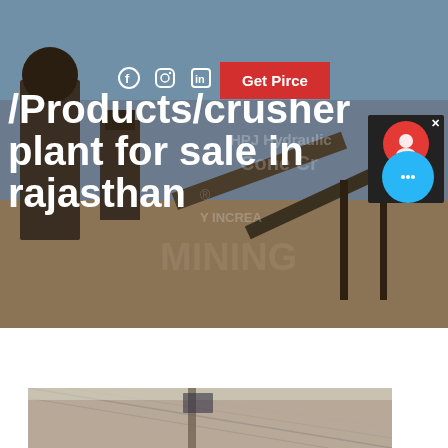[Figure (photo): Industrial crusher plant / mining equipment outdoor facility with conveyor belts and large machinery under blue sky. Text overlay includes HPJ Hydraulic Cone Crusher branding.]
/Products/crusher plant for sale in rajasthan
[Figure (photo): Interior of an industrial facility or warehouse with metal roof structure and equipment visible.]